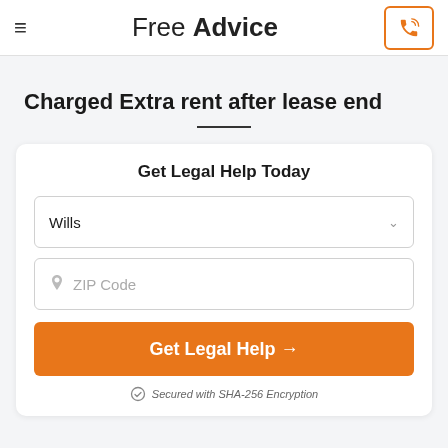Free Advice
Charged Extra rent after lease end
Get Legal Help Today
Wills
ZIP Code
Get Legal Help →
Secured with SHA-256 Encryption